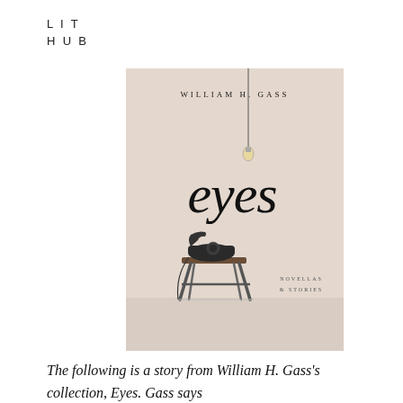LIT
HUB
[Figure (illustration): Book cover of 'eyes' by William H. Gass. Beige/cream background with a hanging light bulb from a cord at top center, large italic script title 'eyes' in the center, an old black rotary telephone sitting on a small metal stool, and text 'NOVELLAS & STORIES' in small caps at lower right. Author name 'WILLIAM H. GASS' in spaced caps at top.]
The following is a story from William H. Gass's collection, Eyes. Gass says